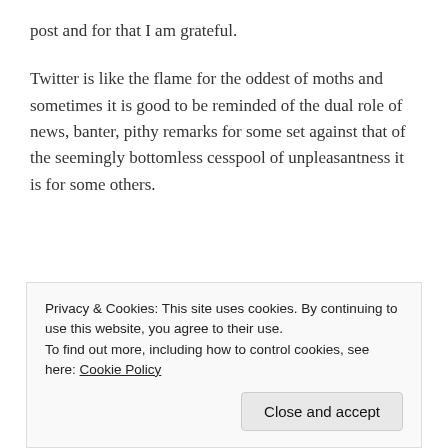post and for that I am grateful.
Twitter is like the flame for the oddest of moths and sometimes it is good to be reminded of the dual role of news, banter, pithy remarks for some set against that of the seemingly bottomless cesspool of unpleasantness it is for some others.
Moscow Baby
Privacy & Cookies: This site uses cookies. By continuing to use this website, you agree to their use. To find out more, including how to control cookies, see here: Cookie Policy
Close and accept